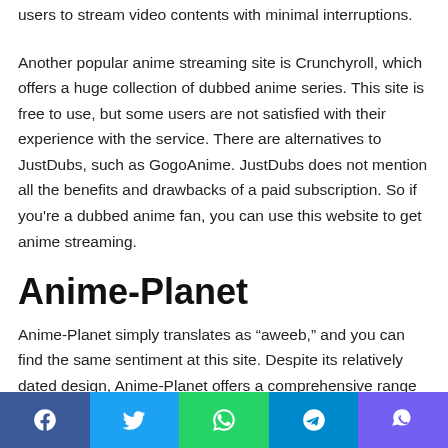users to stream video contents with minimal interruptions.
Another popular anime streaming site is Crunchyroll, which offers a huge collection of dubbed anime series. This site is free to use, but some users are not satisfied with their experience with the service. There are alternatives to JustDubs, such as GogoAnime. JustDubs does not mention all the benefits and drawbacks of a paid subscription. So if you’re a dubbed anime fan, you can use this website to get anime streaming.
Anime-Planet
Anime-Planet simply translates as “aweeb,” and you can find the same sentiment at this site. Despite its relatively dated design, Anime-Planet offers a comprehensive range of popular
Facebook Twitter WhatsApp Telegram Viber